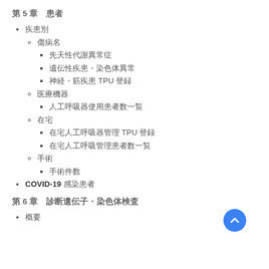第 5 章　患者
疾患別
傷病名
先天性代謝異常症
遺伝性疾患・染色体異常
神経・筋疾患 TPU 登録
医療機器
人工呼吸器使用患者数一覧
在宅
在宅人工呼吸器管理 TPU 登録
在宅人工呼吸管理患者数一覧
手術
手術件数
COVID-19 感染患者
第 6 章　診断遺伝子・染色体検査
概要